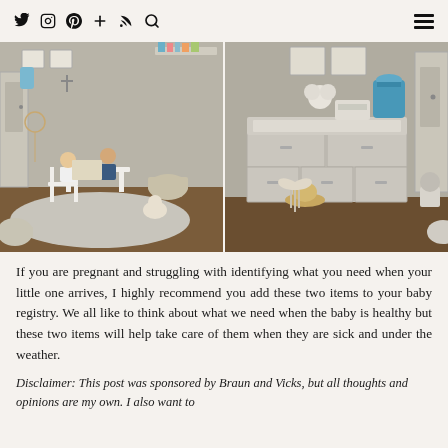Social media icons (Twitter, Instagram, Pinterest, Plus, RSS, Search) and hamburger menu
[Figure (photo): Two-panel nursery/children's room photo. Left panel shows two children sitting at a small white table reading, with bookshelves on wall, toy storage, and a rug. Right panel shows a white dresser with changing topper, humidifier in teal/blue color, a hat hanging on the dresser, and angel wing decoration.]
If you are pregnant and struggling with identifying what you need when your little one arrives, I highly recommend you add these two items to your baby registry. We all like to think about what we need when the baby is healthy but these two items will help take care of them when they are sick and under the weather.
Disclaimer: This post was sponsored by Braun and Vicks, but all thoughts and opinions are my own. I also want to